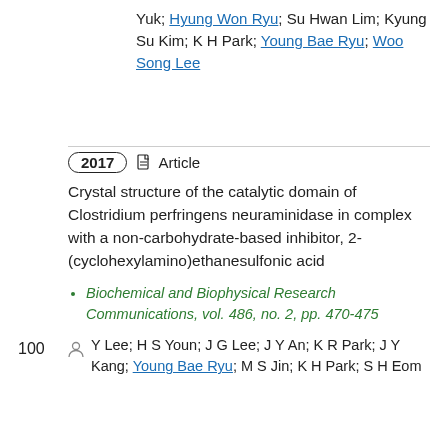Yuk; Hyung Won Ryu; Su Hwan Lim; Kyung Su Kim; K H Park; Young Bae Ryu; Woo Song Lee
2017 · Article
Crystal structure of the catalytic domain of Clostridium perfringens neuraminidase in complex with a non-carbohydrate-based inhibitor, 2-(cyclohexylamino)ethanesulfonic acid
100
Biochemical and Biophysical Research Communications, vol. 486, no. 2, pp. 470-475
Y Lee; H S Youn; J G Lee; J Y An; K R Park; J Y Kang; Young Bae Ryu; M S Jin; K H Park; S H Eom